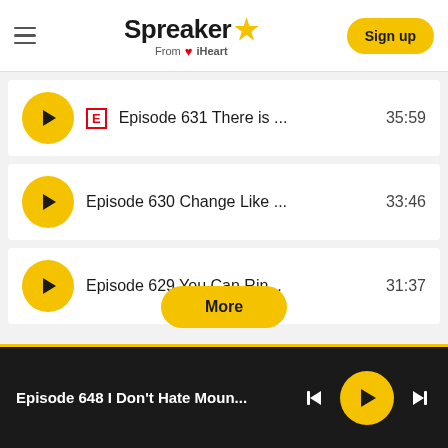Spreaker from iHeart — Sign up
Episode 631 There is ... 35:59
Episode 630 Change Like ... 33:46
Episode 629 You Can Rin... 31:37
More
Episode 648 I Don't Hate Moun... — play controls